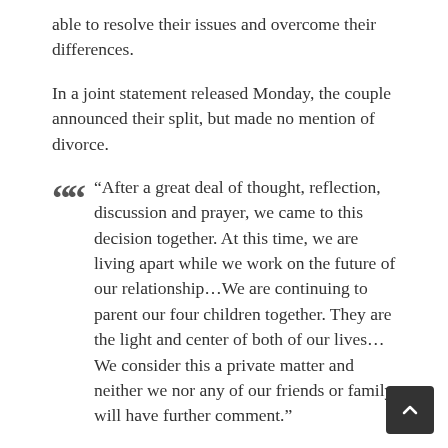able to resolve their issues and overcome their differences.
In a joint statement released Monday, the couple announced their split, but made no mention of divorce.
“After a great deal of thought, reflection, discussion and prayer, we came to this decision together. At this time, we are living apart while we work on the future of our relationship…We are continuing to parent our four children together. They are the light and center of both of our lives…We consider this a private matter and neither we nor any of our friends or family will have further comment.”
The 63-year-old former Governor of California and his 55-year-old Kennedy-family wife first met in 1977...